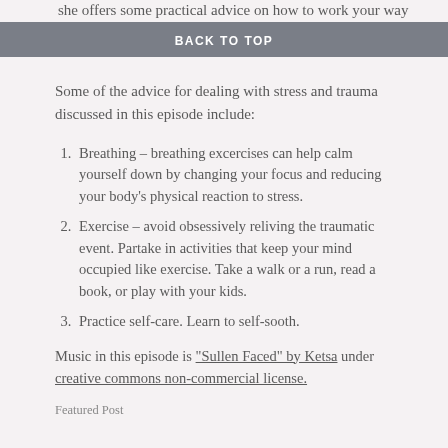she offers some practical advice on how to work your way through it.
BACK TO TOP
Some of the advice for dealing with stress and trauma discussed in this episode include:
Breathing – breathing excercises can help calm yourself down by changing your focus and reducing your body's physical reaction to stress.
Exercise – avoid obsessively reliving the traumatic event. Partake in activities that keep your mind occupied like exercise. Take a walk or a run, read a book, or play with your kids.
Practice self-care. Learn to self-sooth.
Music in this episode is "Sullen Faced" by Ketsa under creative commons non-commercial license.
Featured Post